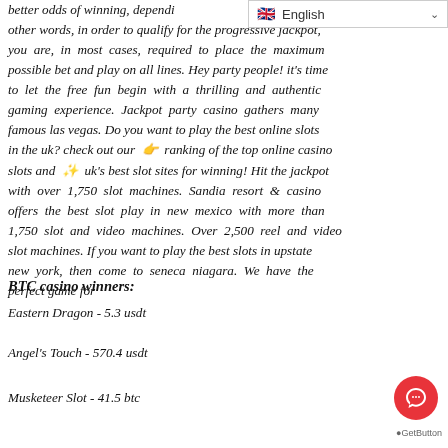English (language selector bar)
better odds of winning, depending on other words, in order to qualify for the progressive jackpot, you are, in most cases, required to place the maximum possible bet and play on all lines. Hey party people! it's time to let the free fun begin with a thrilling and authentic gaming experience. Jackpot party casino gathers many famous las vegas. Do you want to play the best online slots in the uk? check out our 👉 ranking of the top online casino slots and ✨ uk's best slot sites for winning! Hit the jackpot with over 1,750 slot machines. Sandia resort & casino offers the best slot play in new mexico with more than 1,750 slot and video machines. Over 2,500 reel and video slot machines. If you want to play the best slots in upstate new york, then come to seneca niagara. We have the perfect game for
BTC casino winners:
Eastern Dragon - 5.3 usdt
Angel's Touch - 570.4 usdt
Musketeer Slot - 41.5 btc